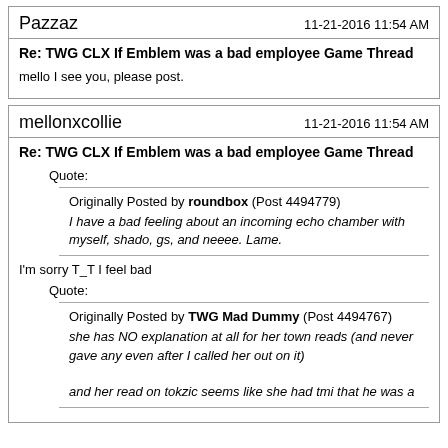Pazzaz
11-21-2016 11:54 AM
Re: TWG CLX If Emblem was a bad employee Game Thread
mello I see you, please post.
mellonxcollie
11-21-2016 11:54 AM
Re: TWG CLX If Emblem was a bad employee Game Thread
Quote:
Originally Posted by roundbox (Post 4494779)
I have a bad feeling about an incoming echo chamber with myself, shado, gs, and neeee. Lame.
I'm sorry T_T I feel bad
Quote:
Originally Posted by TWG Mad Dummy (Post 4494767)
she has NO explanation at all for her town reads (and never gave any even after I called her out on it)

and her read on tokzic seems like she had tmi that he was a